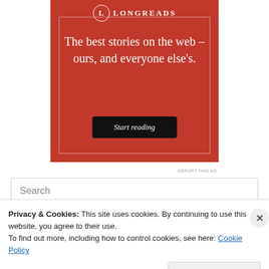[Figure (infographic): Longreads advertisement banner with red background. Logo with L in a circle and LONGREADS text. Headline: 'The best stories on the web – ours, and everyone else's.' Black button with italic text 'Start reading'.]
Search
Privacy & Cookies: This site uses cookies. By continuing to use this website, you agree to their use.
To find out more, including how to control cookies, see here: Cookie Policy
Close and accept